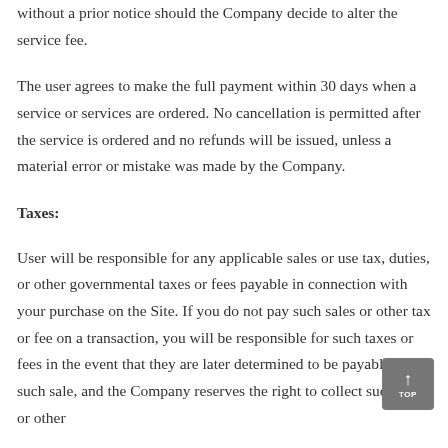without a prior notice should the Company decide to alter the service fee.
The user agrees to make the full payment within 30 days when a service or services are ordered. No cancellation is permitted after the service is ordered and no refunds will be issued, unless a material error or mistake was made by the Company.
Taxes:
User will be responsible for any applicable sales or use tax, duties, or other governmental taxes or fees payable in connection with your purchase on the Site. If you do not pay such sales or other tax or fee on a transaction, you will be responsible for such taxes or fees in the event that they are later determined to be payable on such sale, and the Company reserves the right to collect such taxes or other